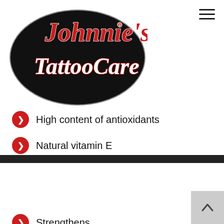[Figure (logo): Johnnie's Tattoo Care logo — black oval with red and white script text]
High content of antioxidants
Natural vitamin E
Supports the recovery of scar tissue
Argan Oil
Argania Spinosa Kernel Oil
Strengthens